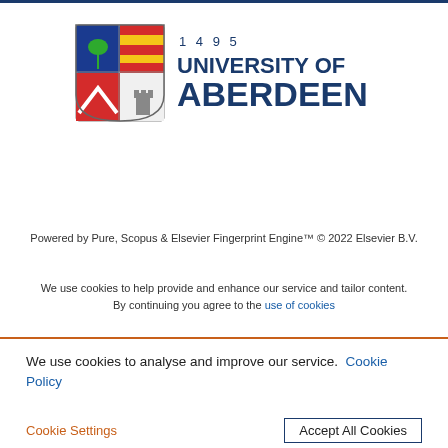[Figure (logo): University of Aberdeen logo with shield crest and text '1495 UNIVERSITY OF ABERDEEN' in dark blue]
Powered by Pure, Scopus & Elsevier Fingerprint Engine™ © 2022 Elsevier B.V.
We use cookies to help provide and enhance our service and tailor content. By continuing you agree to the use of cookies
We use cookies to analyse and improve our service. Cookie Policy
Cookie Settings    Accept All Cookies